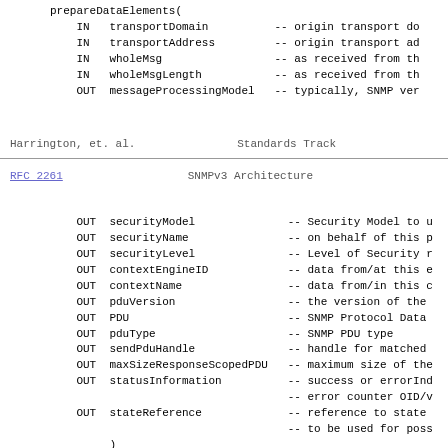prepareDataElements(
    IN   transportDomain          -- origin transport do
    IN   transportAddress         -- origin transport ad
    IN   wholeMsg                 -- as received from th
    IN   wholeMsgLength           -- as received from th
    OUT  messageProcessingModel   -- typically, SNMP ver
Harrington, et. al.          Standards Track
RFC 2261                     SNMPv3 Architecture
OUT  securityModel              -- Security Model to u
    OUT  securityName               -- on behalf of this p
    OUT  securityLevel              -- Level of Security r
    OUT  contextEngineID            -- data from/at this e
    OUT  contextName                -- data from/in this c
    OUT  pduVersion                 -- the version of the
    OUT  PDU                        -- SNMP Protocol Data
    OUT  pduType                    -- SNMP PDU type
    OUT  sendPduHandle              -- handle for matched
    OUT  maxSizeResponseScopedPDU   -- maximum size of the
    OUT  statusInformation          -- success or errorInd
                                    -- error counter OID/v
    OUT  stateReference             -- reference to state
                                    -- to be used for poss
         )